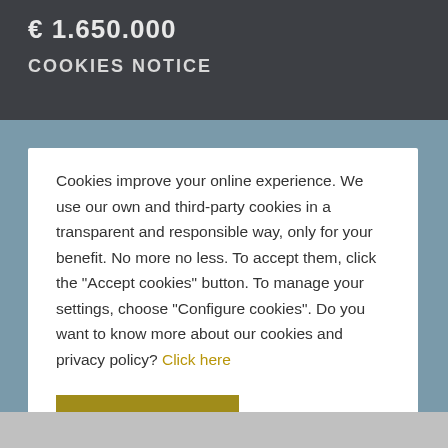€ 1.650.000
COOKIES NOTICE
Cookies improve your online experience. We use our own and third-party cookies in a transparent and responsible way, only for your benefit. No more no less. To accept them, click the "Accept cookies" button. To manage your settings, choose "Configure cookies". Do you want to know more about our cookies and privacy policy? Click here
Accept cookies
Reject cookies
Configure cookies